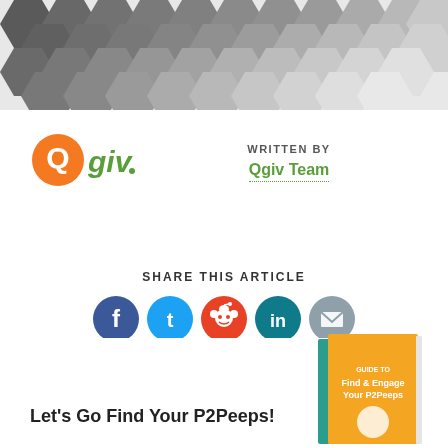[Figure (illustration): Decorative hexagon pattern header in dark grey/charcoal tones fading lighter toward the bottom]
[Figure (logo): Qgiv logo with orange Q circle and green 'giv' text]
WRITTEN BY
Qgiv Team
SHARE THIS ARTICLE
[Figure (infographic): Row of social share icon buttons: Facebook (dark blue), Twitter (light blue), Reddit (orange-red), LinkedIn (teal), Email (grey)]
Let's Go Find Your P2Peeps!
[Figure (illustration): Book cover titled 'Find & Engage Your P2Peeps' with yellow/orange cover and teal spine]